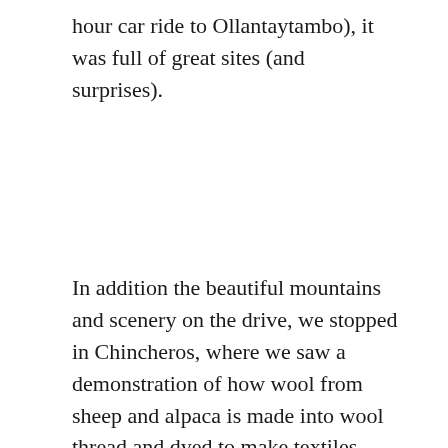hour car ride to Ollantaytambo), it was full of great sites (and surprises).
In addition the beautiful mountains and scenery on the drive, we stopped in Chincheros, where we saw a demonstration of how wool from sheep and alpaca is made into wool thread and dyed to make textiles, (and of course had the opportunity to buy some great handmade